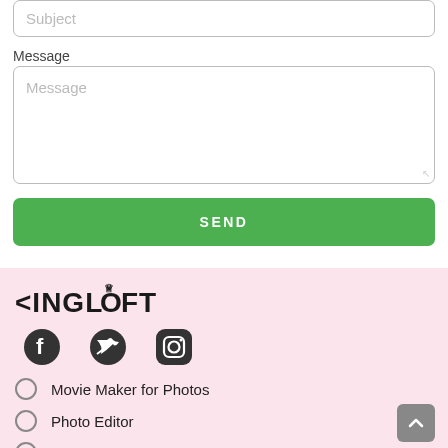Subject
Message
SEND
[Figure (logo): KINGLOFT brand logo with crown icon]
[Figure (infographic): Social media icons: Facebook, Twitter, Instagram]
Movie Maker for Photos
Photo Editor
Movie Maker & Video Editor